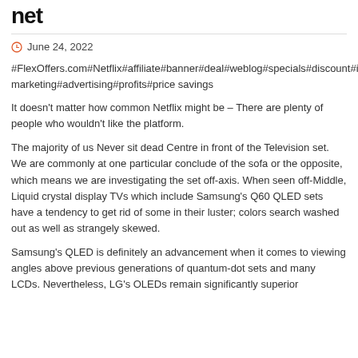net
June 24, 2022
#FlexOffers.com#Netflix#affiliate#banner#deal#weblog#specials#discount#internet marketing#advertising#profits#price savings
It doesn't matter how common Netflix might be – There are plenty of people who wouldn't like the platform.
The majority of us Never sit dead Centre in front of the Television set. We are commonly at one particular conclude of the sofa or the opposite, which means we are investigating the set off-axis. When seen off-Middle, Liquid crystal display TVs which include Samsung's Q60 QLED sets have a tendency to get rid of some in their luster; colors search washed out as well as strangely skewed.
Samsung's QLED is definitely an advancement when it comes to viewing angles above previous generations of quantum-dot sets and many LCDs. Nevertheless, LG's OLEDs remain significantly superior